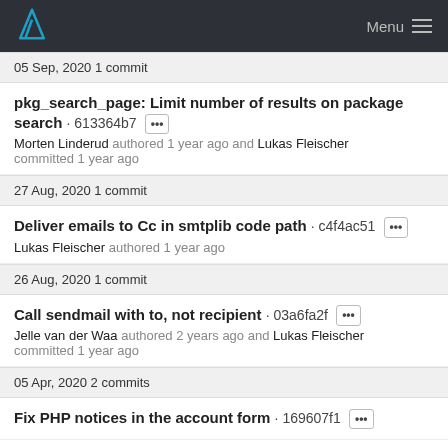Menu
05 Sep, 2020 1 commit
pkg_search_page: Limit number of results on package search · 613364b7 [...] Morten Linderud authored 1 year ago and Lukas Fleischer committed 1 year ago
27 Aug, 2020 1 commit
Deliver emails to Cc in smtplib code path · c4f4ac51 [...] Lukas Fleischer authored 1 year ago
26 Aug, 2020 1 commit
Call sendmail with to, not recipient · 03a6fa2f [...] Jelle van der Waa authored 2 years ago and Lukas Fleischer committed 1 year ago
05 Apr, 2020 2 commits
Fix PHP notices in the account form · 169607f1 [...]